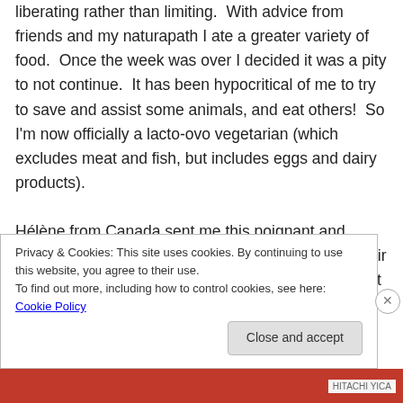liberating rather than limiting. With advice from friends and my naturapath I ate a greater variety of food. Once the week was over I decided it was a pity to not continue. It has been hypocritical of me to try to save and assist some animals, and eat others! So I'm now officially a lacto-ovo vegetarian (which excludes meat and fish, but includes eggs and dairy products).

Hélène from Canada sent me this poignant and upsetting video about caged hens released from their imprisonment – made by Animals Australia. Watch it and you may never eat chicken or eggs again! I am only going to eat eggs
Privacy & Cookies: This site uses cookies. By continuing to use this website, you agree to their use.
To find out more, including how to control cookies, see here: Cookie Policy
Close and accept